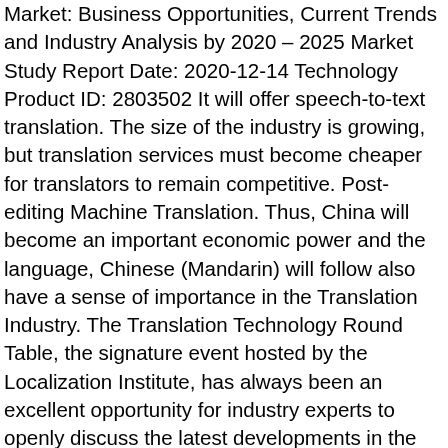Market: Business Opportunities, Current Trends and Industry Analysis by 2020 – 2025 Market Study Report Date: 2020-12-14 Technology Product ID: 2803502 It will offer speech-to-text translation. The size of the industry is growing, but translation services must become cheaper for translators to remain competitive. Post-editing Machine Translation. Thus, China will become an important economic power and the language, Chinese (Mandarin) will follow also have a sense of importance in the Translation Industry. The Translation Technology Round Table, the signature event hosted by the Localization Institute, has always been an excellent opportunity for industry experts to openly discuss the latest developments in the translation technology field and freely debate issues confronting the industry. The world will be watching 3 trillion minutes of Internet video per month by 2021." Videos are on the rise so much so that, "Video will represent 80% of all Internet traffic by 2021.""Facebook might be hosting upwards of 8 billion views per day on its platform, but a wide majority of that viewership is happening in silence. The Asia-Pacific region is one of the fastest-